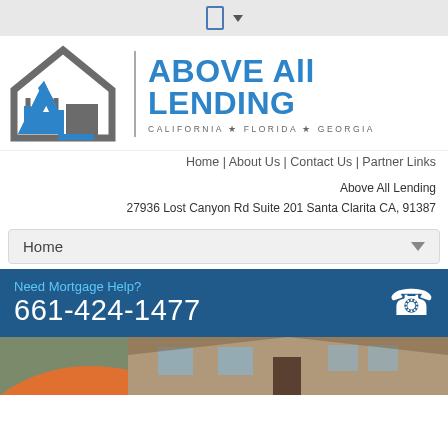[Figure (logo): Above All Lending logo with house/arrow icon in gray and blue, company name in blue bold text, tagline CALIFORNIA * FLORIDA * GEORGIA]
Home | About Us | Contact Us | Partner Links
Above All Lending
27936 Lost Canyon Rd Suite 201 Santa Clarita CA, 91387
Home
Need Mortgage Help?
661-424-1477
[Figure (photo): Partial view of residential house exterior with orange arc overlay at bottom of page]